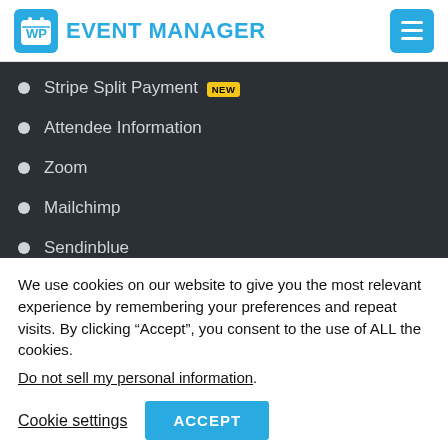WP EVENT MANAGER
Stripe Split Payment NEW
Attendee Information
Zoom
Mailchimp
Sendinblue
Constant Contact New
We use cookies on our website to give you the most relevant experience by remembering your preferences and repeat visits. By clicking “Accept”, you consent to the use of ALL the cookies.
Do not sell my personal information.
Cookie settings   ACCEPT